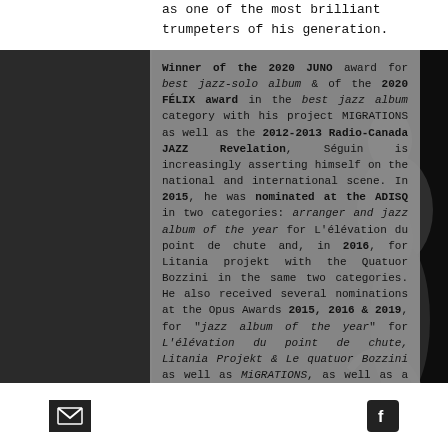as one of the most brilliant trumpeters of his generation.
Winner of the 2020 JUNO award for best jazz-solo album & of the 2020 FÉLIX award in the best jazz album category with his project MIGRATIONS as well as the 2012-2013 Radio-Canada JAZZ Revelation, Séguin is increasingly asserting himself on the national and international scene. In 2015, he was nominated at the ADISQ in two categories: arranger and jazz album of the year for L'élévation du point de chute and, in 2016, for Litania projekt with the Quatuor Bozzini in the same two categories. He also received several nominations at the Opus Awards 2015, 2016 & 2019, for "jazz album of the year" for L'élévation du point de chute, Litania Projekt & Le quatuor Bozzini as well as MiGRATIONS, as well as a nomination in the category "Concert of the year – jazz and world music" for his performance at the FIJM 2014 where Jacques presented an enlarged version of his Litania Projekt by adding a string quartet to the
[Figure (photo): Black and white background photo of a jazz musician (trumpeter), partially visible behind the grey text overlay. Dark tones with figure visible on right side.]
Email icon | Facebook icon